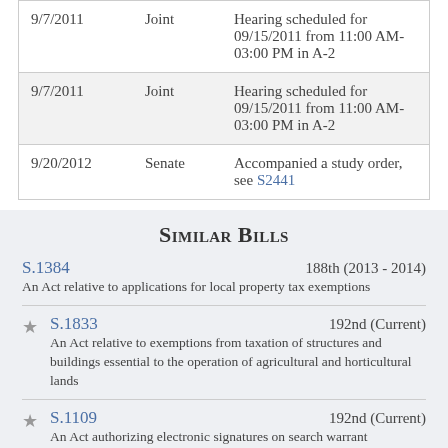| Date | Chamber | Action |
| --- | --- | --- |
| 9/7/2011 | Joint | Hearing scheduled for 09/15/2011 from 11:00 AM-03:00 PM in A-2 |
| 9/7/2011 | Joint | Hearing scheduled for 09/15/2011 from 11:00 AM-03:00 PM in A-2 |
| 9/20/2012 | Senate | Accompanied a study order, see S2441 |
Similar Bills
S.1384 — 188th (2013 - 2014) — An Act relative to applications for local property tax exemptions
S.1833 — 192nd (Current) — An Act relative to exemptions from taxation of structures and buildings essential to the operation of agricultural and horticultural lands
S.1109 — 192nd (Current) — An Act authorizing electronic signatures on search warrant applications